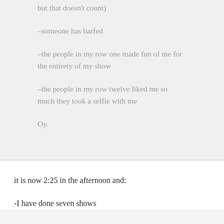but that doesn't count)
-someone has barfed
-the people in my row one made fun of me for the entirety of my show
-the people in my row twelve liked me so much they took a selfie with me
Oy.
it is now 2:25 in the afternoon and:
-I have done seven shows